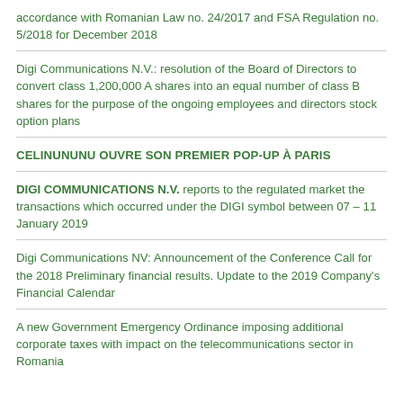accordance with Romanian Law no. 24/2017 and FSA Regulation no. 5/2018 for December 2018
Digi Communications N.V.: resolution of the Board of Directors to convert class 1,200,000 A shares into an equal number of class B shares for the purpose of the ongoing employees and directors stock option plans
CELINUNUNU OUVRE SON PREMIER POP-UP À PARIS
DIGI COMMUNICATIONS N.V. reports to the regulated market the transactions which occurred under the DIGI symbol between 07 – 11 January 2019
Digi Communications NV: Announcement of the Conference Call for the 2018 Preliminary financial results. Update to the 2019 Company's Financial Calendar
A new Government Emergency Ordinance imposing additional corporate taxes with impact on the telecommunications sector in Romania